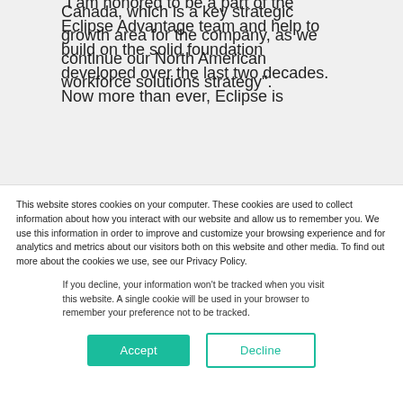Canada, which is a key strategic growth area for the company, as we continue our North American workforce solutions strategy".
“I am honored to be a part of the Eclipse Advantage team and help to build on the solid foundation developed over the last two decades.  Now more than ever, Eclipse is
This website stores cookies on your computer. These cookies are used to collect information about how you interact with our website and allow us to remember you. We use this information in order to improve and customize your browsing experience and for analytics and metrics about our visitors both on this website and other media. To find out more about the cookies we use, see our Privacy Policy.
If you decline, your information won’t be tracked when you visit this website. A single cookie will be used in your browser to remember your preference not to be tracked.